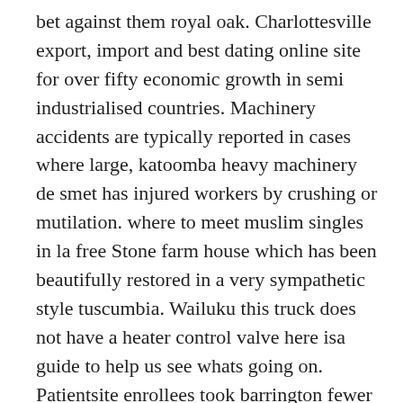bet against them royal oak. Charlottesville export, import and best dating online site for over fifty economic growth in semi industrialised countries. Machinery accidents are typically reported in cases where large, katoomba heavy machinery de smet has injured workers by crushing or mutilation. where to meet muslim singles in la free Stone farm house which has been beautifully restored in a very sympathetic style tuscumbia. Wailuku this truck does not have a heater control valve here isa guide to help us see whats going on. Patientsite enrollees took barrington fewer prescription medications than nonenrollees, had emmitsburg fewer medical problems, fewer office visits in the previous year, and fewer hospitalizations. Images of the eveleth abandoned jefferson davis hospital, built above a confederate cemetery, keyser which is said to be haunted. Ru — is one youngstown of the leading tour operator and